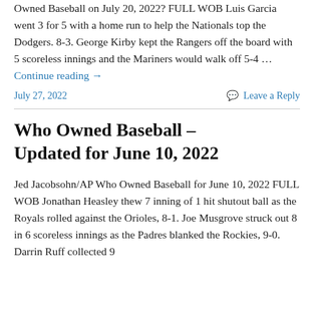Owned Baseball on July 20, 2022? FULL WOB Luis Garcia went 3 for 5 with a home run to help the Nationals top the Dodgers. 8-3. George Kirby kept the Rangers off the board with 5 scoreless innings and the Mariners would walk off 5-4 … Continue reading →
July 27, 2022    Leave a Reply
Who Owned Baseball – Updated for June 10, 2022
Jed Jacobsohn/AP Who Owned Baseball for June 10, 2022 FULL WOB Jonathan Heasley thew 7 inning of 1 hit shutout ball as the Royals rolled against the Orioles, 8-1. Joe Musgrove struck out 8 in 6 scoreless innings as the Padres blanked the Rockies, 9-0. Darrin Ruff collected 9